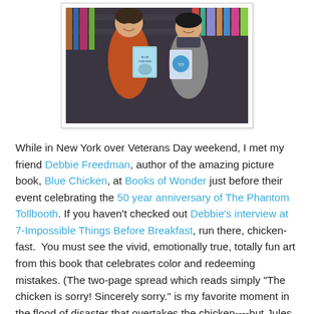[Figure (photo): Two women smiling at a bookstore, each holding a book. The woman on the left holds 'Blue Chicken' and the woman on the right holds another book. Bookstore shelves visible in the background.]
While in New York over Veterans Day weekend, I met my friend Debbie Freedman, author of the amazing picture book, Blue Chicken, at Books of Wonder just before their event celebrating the 50 year anniversary of The Phantom Tollbooth. If you haven't checked out Debbie's interview at 7-Impossible Things Before Breakfast, run there, chicken-fast.  You must see the vivid, emotionally true, totally fun art from this book that celebrates color and redeeming mistakes. (The two-page spread which reads simply "The chicken is sorry! Sincerely sorry." is my favorite moment in the flood of disaster that overtakes the chicken----but Jules shares many other fabulous ones.)
Debbie and I signed each other's books, ate scones and